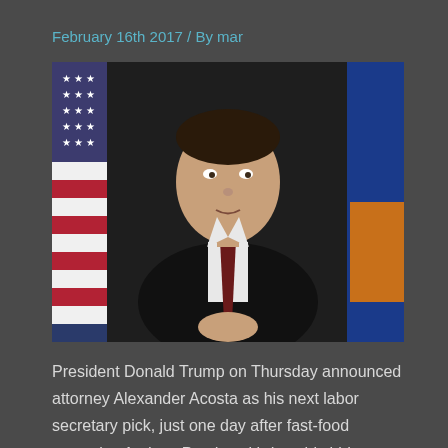February 16th 2017 / By mar
[Figure (photo): A man in a dark suit and dark red polka-dot tie speaks at a podium, with an American flag behind him on the left and a blue and orange flag on the right.]
President Donald Trump on Thursday announced attorney Alexander Acosta as his next labor secretary pick, just one day after fast-food executive Andrew Puzder withdrew his bid over …